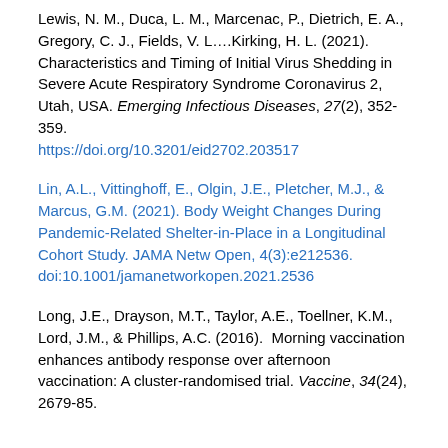Lewis, N. M., Duca, L. M., Marcenac, P., Dietrich, E. A., Gregory, C. J., Fields, V. L….Kirking, H. L. (2021). Characteristics and Timing of Initial Virus Shedding in Severe Acute Respiratory Syndrome Coronavirus 2, Utah, USA. Emerging Infectious Diseases, 27(2), 352-359. https://doi.org/10.3201/eid2702.203517
Lin, A.L., Vittinghoff, E., Olgin, J.E., Pletcher, M.J., & Marcus, G.M. (2021). Body Weight Changes During Pandemic-Related Shelter-in-Place in a Longitudinal Cohort Study. JAMA Netw Open, 4(3):e212536. doi:10.1001/jamanetworkopen.2021.2536
Long, J.E., Drayson, M.T., Taylor, A.E., Toellner, K.M., Lord, J.M., & Phillips, A.C. (2016).  Morning vaccination enhances antibody response over afternoon vaccination: A cluster-randomised trial. Vaccine, 34(24), 2679-85.